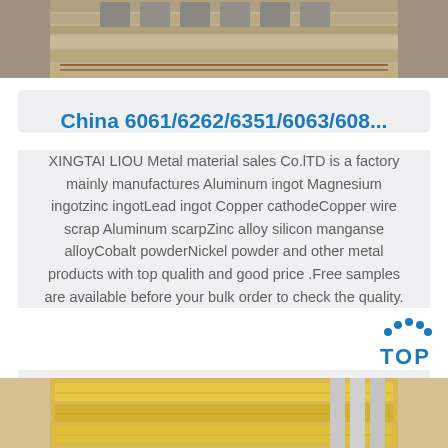[Figure (photo): Top partial photo showing metal ingots or bars on a pallet surface, cropped at top]
China 6061/6262/6351/6063/608...
XINGTAI LIOU Metal material sales Co.lTD is a factory mainly manufactures Aluminum ingot Magnesium ingotzinc ingotLead ingot Copper cathodeCopper wire scrap Aluminum scarpZinc alloy silicon manganse alloyCobalt powderNickel powder and other metal products with top qualith and good price .Free samples are available before your bulk order to check the quality.
Get Price
[Figure (photo): Bottom partial photo showing yellow/golden colored metal bars or rods, partially cropped]
[Figure (logo): TOP button logo with blue dotted arc above the word TOP in blue]